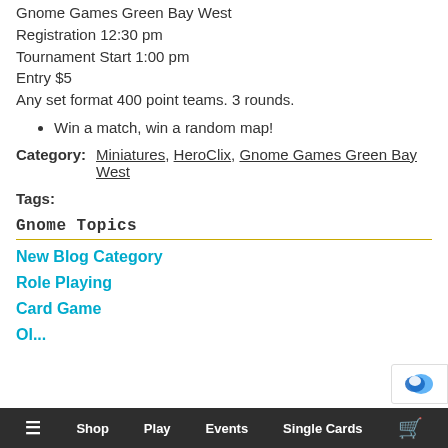Gnome Games Green Bay West
Registration 12:30 pm
Tournament Start 1:00 pm
Entry $5
Any set format 400 point teams. 3 rounds.
Win a match, win a random map!
Category: Miniatures, HeroClix, Gnome Games Green Bay West
Tags:
Gnome Topics
New Blog Category
Role Playing
Card Game
≡  Shop  Play  Events  Single Cards  🛒